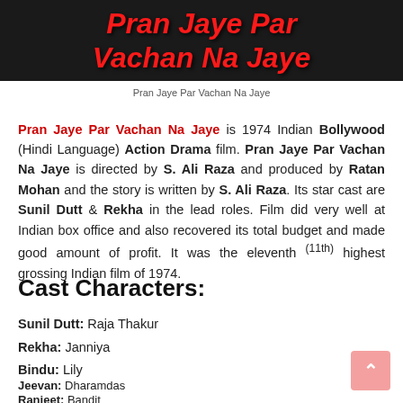[Figure (photo): Dark movie banner with red bold italic text reading 'Pran Jaye Par Vachan Na Jaye' over a dark background with decorative elements.]
Pran Jaye Par Vachan Na Jaye
Pran Jaye Par Vachan Na Jaye is 1974 Indian Bollywood (Hindi Language) Action Drama film. Pran Jaye Par Vachan Na Jaye is directed by S. Ali Raza and produced by Ratan Mohan and the story is written by S. Ali Raza. Its star cast are Sunil Dutt & Rekha in the lead roles. Film did very well at Indian box office and also recovered its total budget and made good amount of profit. It was the eleventh (11th) highest grossing Indian film of 1974.
Cast Characters:
Sunil Dutt: Raja Thakur
Rekha: Janniya
Bindu: Lily
Jeevan: Dharamdas
Ranjeet: Bandit